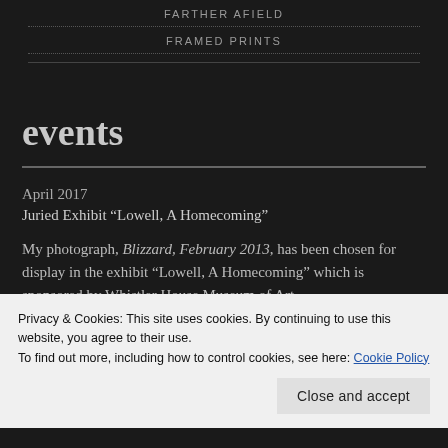FARTHER AFIELD
FRAMED PRINTS
events
April 2017
Juried Exhibit “Lowell, A Homecoming”
My photograph, Blizzard, February 2013, has been chosen for display in the exhibit “Lowell, A Homecoming” which is sponsored by Whistler House Museum of Art.
Privacy & Cookies: This site uses cookies. By continuing to use this website, you agree to their use.
To find out more, including how to control cookies, see here: Cookie Policy
Close and accept